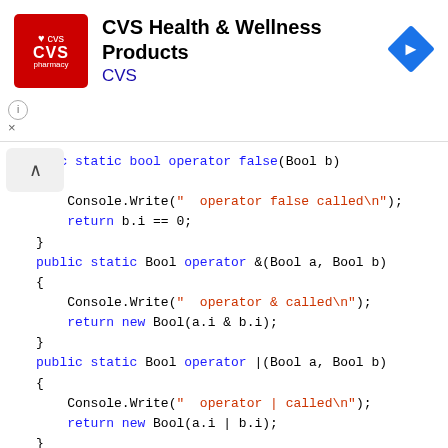[Figure (screenshot): CVS Health & Wellness Products advertisement banner with CVS pharmacy logo and navigation arrow icon]
public static bool operator false(Bool b)
{
    Console.Write("  operator false called\n");
    return b.i == 0;
}
public static Bool operator &(Bool a, Bool b)
{
    Console.Write("  operator & called\n");
    return new Bool(a.i & b.i);
}
public static Bool operator |(Bool a, Bool b)
{
    Console.Write("  operator | called\n");
    return new Bool(a.i | b.i);
}
}

class OperatorSample
{
    static void Main()